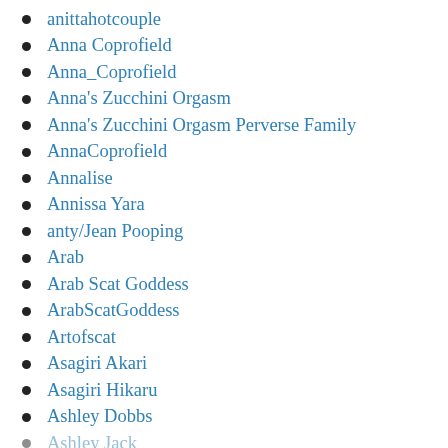anittahotcouple
Anna Coprofield
Anna_Coprofield
Anna's Zucchini Orgasm
Anna's Zucchini Orgasm Perverse Family
AnnaCoprofield
Annalise
Annissa Yara
anty/Jean Pooping
Arab
Arab Scat Goddess
ArabScatGoddess
Artofscat
Asagiri Akari
Asagiri Hikaru
Ashley Dobbs
Ashley Jack...